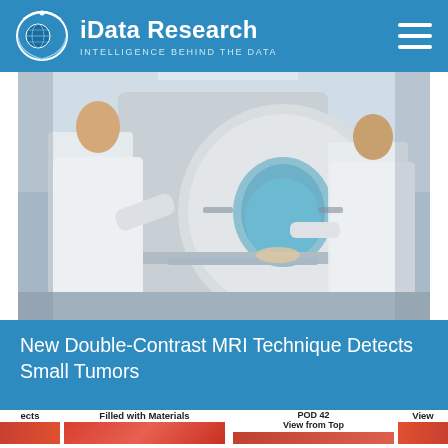iData Research — INTELLIGENCE BEHIND THE DATA
[Figure (photo): Two medical professionals in white lab coats standing beside a large MRI scanner machine, with a patient on the table being prepared for a scan. The room is bright and clinical.]
New Double-Contrast MRI Technique Detects Small Tumors
ects | Filled with Materials | POD 42 View from Top | View